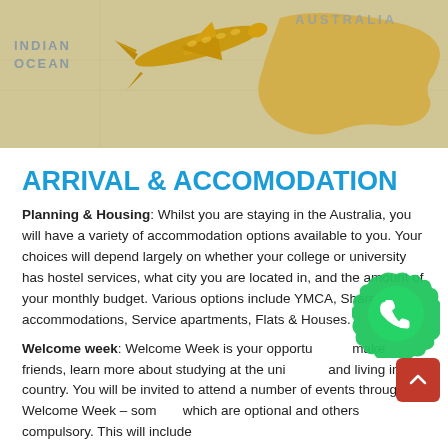[Figure (photo): Photo of a golden toy airplane on a world map showing Australia and Indian Ocean text]
ARRIVAL & ACCOMODATION
Planning & Housing: Whilst you are staying in the Australia, you will have a variety of accommodation options available to you. Your choices will depend largely on whether your college or university has hostel services, what city you are located in, and the amount of your monthly budget. Various options include YMCA, Shared accommodations, Service apartments, Flats & Houses.
Welcome week: Welcome Week is your opportunity to make friends, learn more about studying at the university and living in the country. You will be invited to attend a number of events throughout Welcome Week – some of which are optional and others compulsory. This will include orientation programs which will guide you through the...